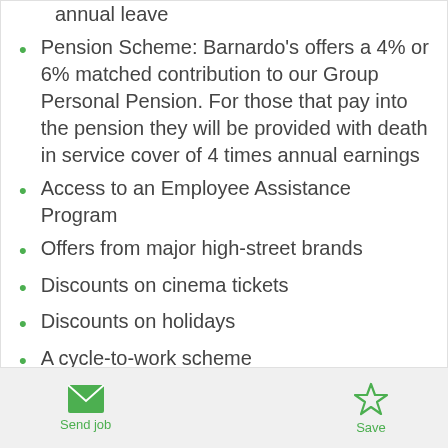annual leave
Pension Scheme: Barnardo's offers a 4% or 6% matched contribution to our Group Personal Pension. For those that pay into the pension they will be provided with death in service cover of 4 times annual earnings
Access to an Employee Assistance Program
Offers from major high-street brands
Discounts on cinema tickets
Discounts on holidays
A cycle-to-work scheme
Send job  Save